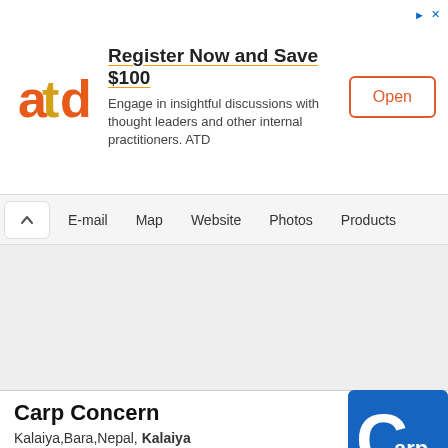[Figure (infographic): ATD advertisement banner with logo, text 'Register Now and Save $100', description, and Open button]
E-mail  Map  Website  Photos  Products
[Figure (other): Empty light grey map/content area]
Carp Concern
Kalaiya,Bara,Nepal, Kalaiya
Trading & Exporter of all kinds of electrical products like Switch,Circular,LEd bulb,Etc. Trading & Exporter of all kinds of electrical products like Switch,Circular,LEd bulb,Etc. Trading & Exporter o...
[Figure (logo): Carp Concern logo - blue square with white letter C and 'arp' text]